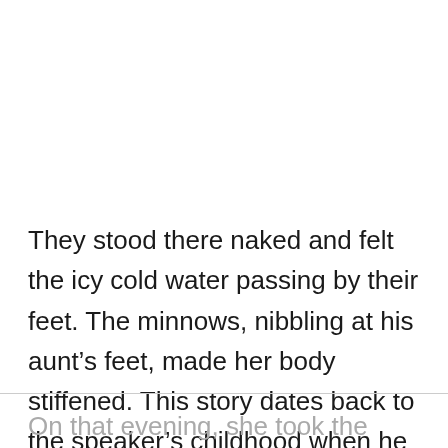They stood there naked and felt the icy cold water passing by their feet. The minnows, nibbling at his aunt’s feet, made her body stiffened. This story dates back to the speaker’s childhood when he was only four.
On that evening, she took the speaker to the